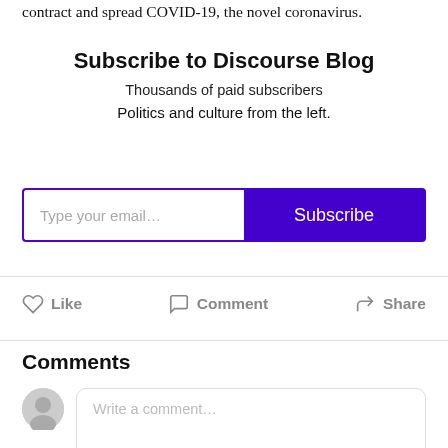contract and spread COVID-19, the novel coronavirus.
Subscribe to Discourse Blog
Thousands of paid subscribers
Politics and culture from the left.
Type your email...   Subscribe
Like   Comment   Share
Comments
Write a comment...